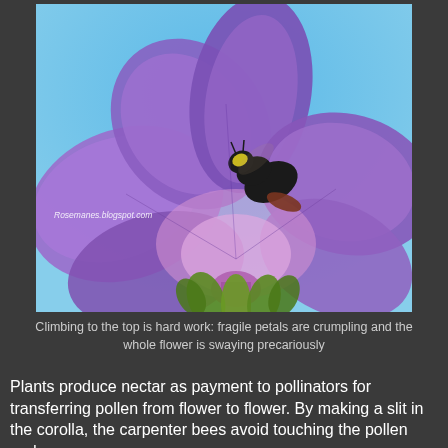[Figure (photo): Close-up photograph of a large carpenter bee climbing on a purple morning glory flower against a bright blue sky. The bee is black with yellow markings and is positioned near the center of the flower. The petals are violet-purple and appear delicate. Green sepals and leaves are visible at the base. A watermark reads 'Rosemanes.blogspot.com' in the lower left of the image.]
Climbing to the top is hard work: fragile petals are crumpling and the whole flower is swaying precariously
Plants produce nectar as payment to pollinators for transferring pollen from flower to flower. By making a slit in the corolla, the carpenter bees avoid touching the pollen and